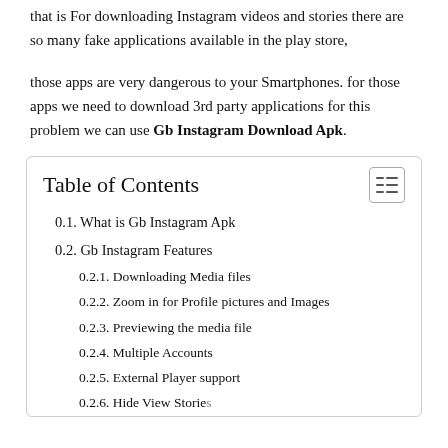that is For downloading Instagram videos and stories there are so many fake applications available in the play store,
those apps are very dangerous to your Smartphones. for those apps we need to download 3rd party applications for this problem we can use Gb Instagram Download Apk.
| 0.1. What is Gb Instagram Apk |
| 0.2. Gb Instagram Features |
| 0.2.1. Downloading Media files |
| 0.2.2. Zoom in for Profile pictures and Images |
| 0.2.3. Previewing the media file |
| 0.2.4. Multiple Accounts |
| 0.2.5. External Player support |
| 0.2.6. Hide View Stories |